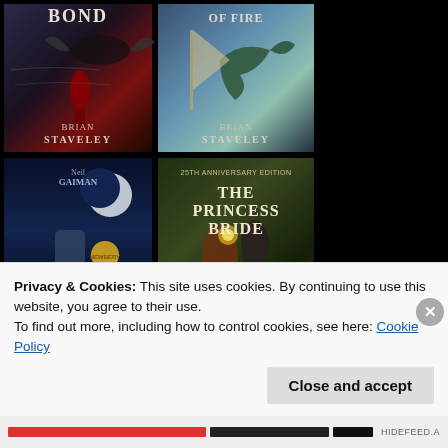[Figure (illustration): Grid of four book covers: top-left 'Bond' by Brian Staveley (dark fantasy cover with flying creature), top-right 'Of Fire' by Brian Staveley (dragon/fantasy cover), bottom-left 'The Graveyard Book' by Neil Gaiman (blue-toned cemetery cover with Newbery medal), bottom-right 'The Princess Bride' by William Goldman (25th Anniversary Edition, couple in dark fantasy scene)]
Privacy & Cookies: This site uses cookies. By continuing to use this website, you agree to their use.
To find out more, including how to control cookies, see here: Cookie Policy
Close and accept